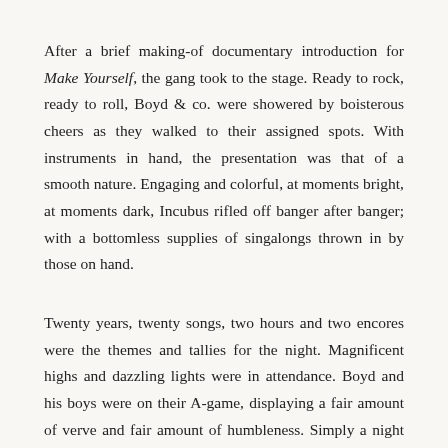After a brief making-of documentary introduction for Make Yourself, the gang took to the stage. Ready to rock, ready to roll, Boyd & co. were showered by boisterous cheers as they walked to their assigned spots. With instruments in hand, the presentation was that of a smooth nature. Engaging and colorful, at moments bright, at moments dark, Incubus rifled off banger after banger; with a bottomless supplies of singalongs thrown in by those on hand.
Twenty years, twenty songs, two hours and two encores were the themes and tallies for the night. Magnificent highs and dazzling lights were in attendance. Boyd and his boys were on their A-game, displaying a fair amount of verve and fair amount of humbleness. Simply a night soon not to be forgotten. It is quite easy to take a band like Incubus for granted nowadays. They have been on the